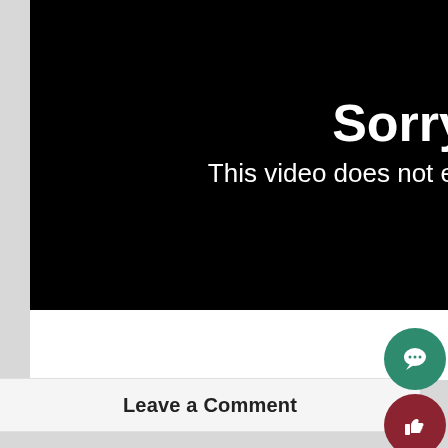[Figure (screenshot): A video player error screen with black background showing 'Sorry' in large bold white text and 'This video does not ex' (truncated) in smaller white text below.]
Leave a Comment